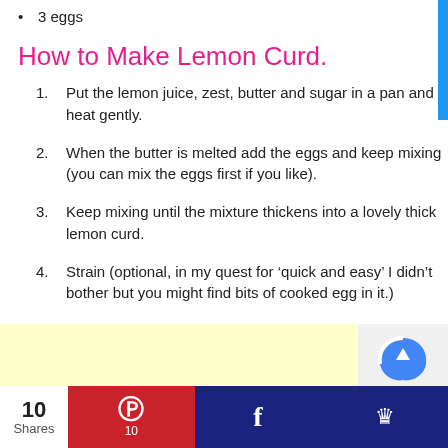3 eggs
How to Make Lemon Curd.
Put the lemon juice, zest, butter and sugar in a pan and heat gently.
When the butter is melted add the eggs and keep mixing (you can mix the eggs first if you like).
Keep mixing until the mixture thickens into a lovely thick lemon curd.
Strain (optional, in my quest for ‘quick and easy’ I didn’t bother but you might find bits of cooked egg in it.)
10 Shares | Pinterest 10 | Facebook | Crown